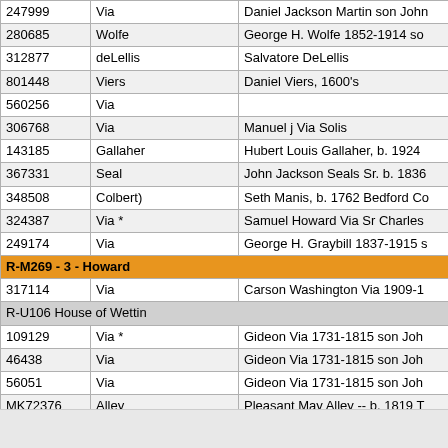| ID | Surname | Description |
| --- | --- | --- |
| 247999 | Via | Daniel Jackson Martin son John |
| 280685 | Wolfe | George H. Wolfe 1852-1914 so |
| 312877 | deLellis | Salvatore DeLellis |
| 801448 | Viers | Daniel Viers, 1600's |
| 560256 | Via |  |
| 306768 | Via | Manuel j Via Solis |
| 143185 | Gallaher | Hubert Louis Gallaher, b. 1924 |
| 367331 | Seal | John Jackson Seals Sr. b. 1836 |
| 348508 | Colbert) | Seth Manis, b. 1762 Bedford Co |
| 324387 | Via * | Samuel Howard Via Sr Charles |
| 249174 | Via | George H. Graybill 1837-1915 s |
| R-M269 - 3 - Howard |  |  |
| 317114 | Via | Carson Washington Via 1909-1 |
| R-U106 House of Wettin |  |  |
| 109129 | Via * | Gideon Via 1731-1815 son Joh |
| 46438 | Via | Gideon Via 1731-1815 son Joh |
| 56051 | Via | Gideon Via 1731-1815 son Joh |
| MK72376 | Alley | Pleasant May Alley -- b. 1819 T |
| 322971 | Via | Gideon Via 1731-1815 son Joh |
| 374497 | Via | Gideon Via 1731-1815 son Joh |
| 339632 | Via | Gideon Via 1731-1815 son Joh |
| 900957 | Yarborough/Staples | William Staples 1677-1755 Va. |
| B12640 | Bennett |  |
| Ungrouped |  |  |
| 969852 | Via | Amer Via, b. ca. 1650 and d. 17 |
| 904131 | Broudou | Jean d'Epinay 1592 France |
| 75680 | Rogers | William Rogers, Albemarle, VA, |